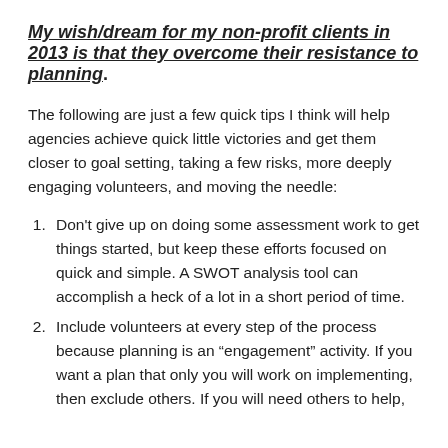My wish/dream for my non-profit clients in 2013 is that they overcome their resistance to planning.
The following are just a few quick tips I think will help agencies achieve quick little victories and get them closer to goal setting, taking a few risks, more deeply engaging volunteers, and moving the needle:
Don't give up on doing some assessment work to get things started, but keep these efforts focused on quick and simple. A SWOT analysis tool can accomplish a heck of a lot in a short period of time.
Include volunteers at every step of the process because planning is an “engagement” activity. If you want a plan that only you will work on implementing, then exclude others. If you will need others to help,